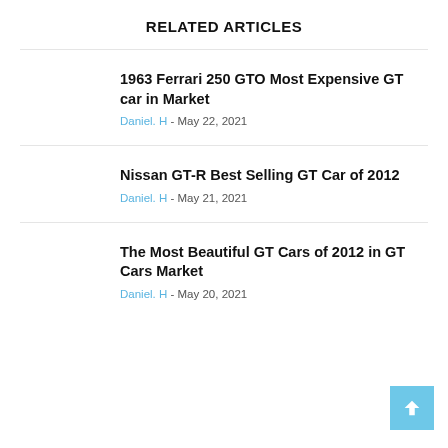RELATED ARTICLES
1963 Ferrari 250 GTO Most Expensive GT car in Market
Daniel. H - May 22, 2021
Nissan GT-R Best Selling GT Car of 2012
Daniel. H - May 21, 2021
The Most Beautiful GT Cars of 2012 in GT Cars Market
Daniel. H - May 20, 2021